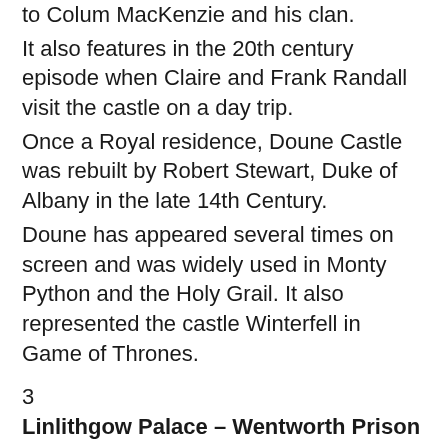to Colum MacKenzie and his clan.
It also features in the 20th century episode when Claire and Frank Randall visit the castle on a day trip.
Once a Royal residence, Doune Castle was rebuilt by Robert Stewart, Duke of Albany in the late 14th Century.
Doune has appeared several times on screen and was widely used in Monty Python and the Holy Grail. It also represented the castle Winterfell in Game of Thrones.
3
Linlithgow Palace – Wentworth Prison
This royal pleasure palace and birthplace of Mary Queen of Scots became the backdrop for some of the most harrowing scenes of the show.